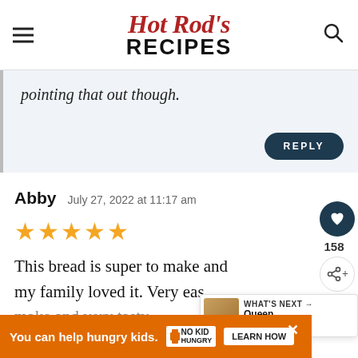Hot Rod's RECIPES
pointing that out though.
REPLY
Abby   July 27, 2022 at 11:17 am
★★★★★
This bread is super to make and my family loved it. Very easy to make and very tasty
[Figure (screenshot): What's Next promo showing Queen Elizabeth Cake]
[Figure (infographic): No Kid Hungry ad banner: You can help hungry kids. LEARN HOW]